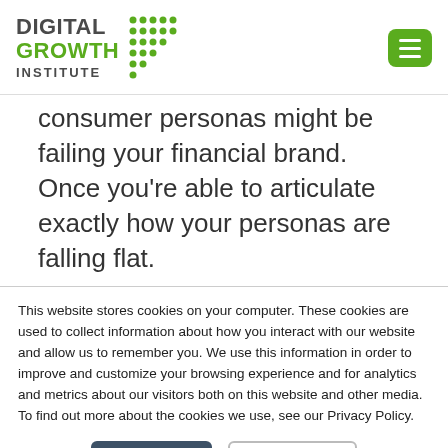DIGITAL GROWTH INSTITUTE
consumer personas might be failing your financial brand. Once you're able to articulate exactly how your personas are falling flat.
This website stores cookies on your computer. These cookies are used to collect information about how you interact with our website and allow us to remember you. We use this information in order to improve and customize your browsing experience and for analytics and metrics about our visitors both on this website and other media. To find out more about the cookies we use, see our Privacy Policy.
Accept | Decline